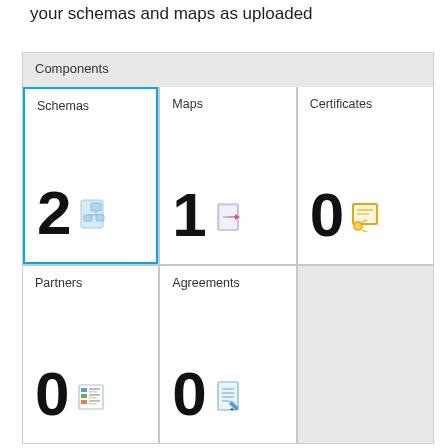your schemas and maps as uploaded
[Figure (screenshot): Components panel with a 2x3 grid showing: Schemas=2, Maps=1, Certificates=0, Partners=0, Agreements=0, and one empty gray cell. Schemas cell is highlighted with a blue border.]